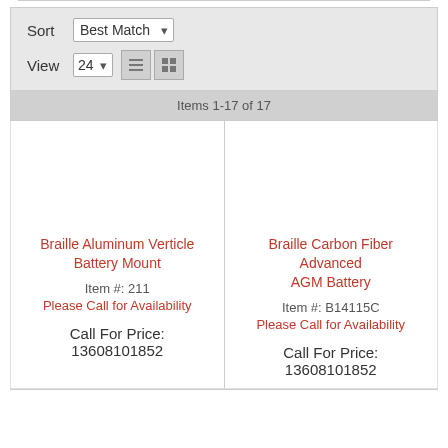Sort  Best Match
View  24
Items 1-17 of 17
Braille Aluminum Verticle Battery Mount
Item #: 211
Please Call for Availability
Call For Price: 13608101852
Braille Carbon Fiber Advanced AGM Battery
Item #: B14115C
Please Call for Availability
Call For Price: 13608101852